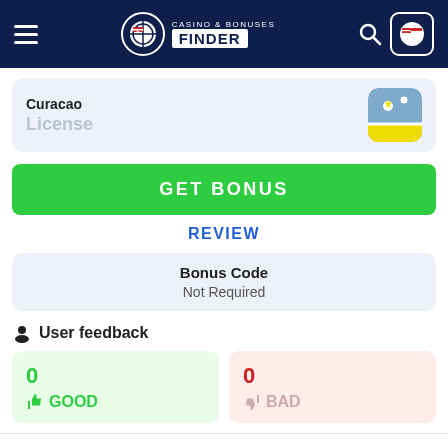Casino & Bonuses Finder
Curacao
License
GET BONUS
REVIEW
Bonus Code
Not Required
User feedback
0
GOOD
0
BAD
We use cookies as set out in our privacy policy. By clicking on this pop up, you agree to our policies.
Read the privacy policy
It's OK For Me